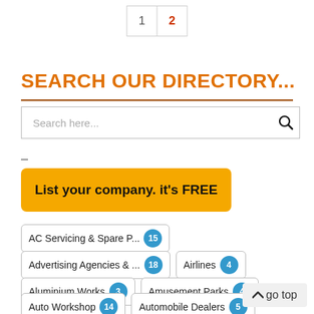1  2
SEARCH OUR DIRECTORY...
Search here...
-
List your company. it's FREE
AC Servicing & Spare P...  15
Advertising Agencies & ...  18
Airlines  4
Aluminium Works  3
Amusement Parks  4
Auto Workshop  14
Automobile Dealers  5
go top